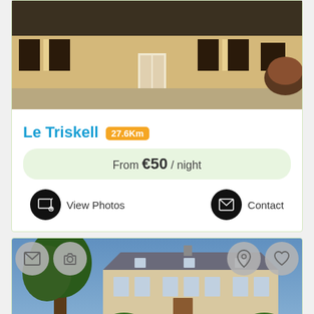[Figure (photo): Exterior photo of Le Triskell property - a yellow/cream colored house with dark shutters]
Le Triskell 27.6Km
From €50 / night
View Photos
Contact
[Figure (photo): Exterior photo of a large French manor/chateau with trees and lawn in foreground, with icon overlay buttons for contact, camera, location pin, and heart/favorite]